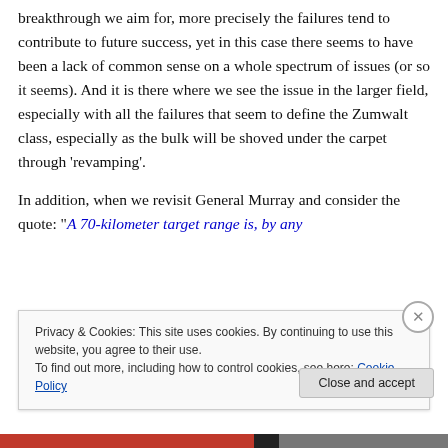breakthrough we aim for, more precisely the failures tend to contribute to future success, yet in this case there seems to have been a lack of common sense on a whole spectrum of issues (or so it seems). And it is there where we see the issue in the larger field, especially with all the failures that seem to define the Zumwalt class, especially as the bulk will be shoved under the carpet through 'revamping'.
In addition, when we revisit General Murray and consider the quote: “A 70-kilometer target range is, by any [estimation, a substantial improvement from still-under-development guns]”
Privacy & Cookies: This site uses cookies. By continuing to use this website, you agree to their use.
To find out more, including how to control cookies, see here: Cookie Policy